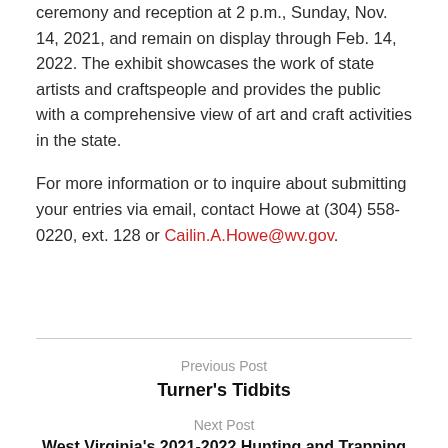ceremony and reception at 2 p.m., Sunday, Nov. 14, 2021, and remain on display through Feb. 14, 2022. The exhibit showcases the work of state artists and craftspeople and provides the public with a comprehensive view of art and craft activities in the state.
For more information or to inquire about submitting your entries via email, contact Howe at (304) 558-0220, ext. 128 or Cailin.A.Howe@wv.gov.
Previous Post
Turner's Tidbits
Next Post
West Virginia's 2021-2022 Hunting and Trapping...